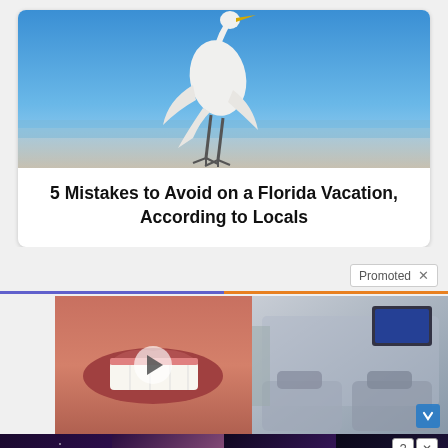[Figure (photo): White egret/heron bird standing on beach with blue sky background]
5 Mistakes to Avoid on a Florida Vacation, According to Locals
Promoted X
[Figure (photo): Advertisement - left panel showing close-up of mouth/teeth with play button overlay]
[Figure (photo): Advertisement - right panel showing car interior]
[Figure (photo): Bottom advertisement for Whispers app/game showing romantic illustrated characters]